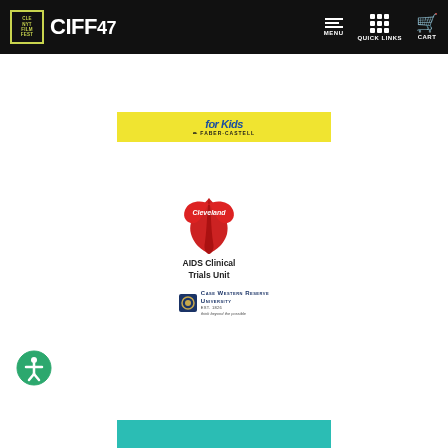[Figure (screenshot): CIFF 47 Cleveland International Film Festival navigation bar with logo, MENU, QUICK LINKS, and CART icons on black background]
[Figure (logo): Faber-Castell 'for Kids' yellow banner logo]
[Figure (logo): Cleveland AIDS Clinical Trials Unit logo with red ribbon and Case Western Reserve University branding]
[Figure (logo): Teal banner at bottom of page]